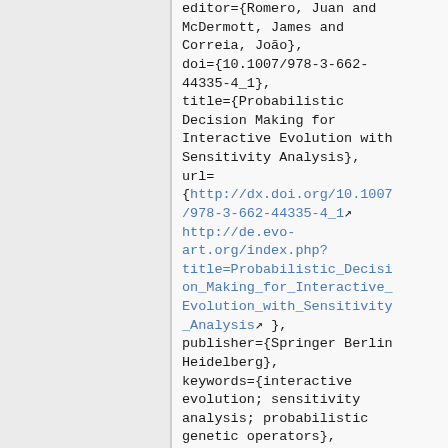editor={Romero, Juan and McDermott, James and Correia, João}, doi={10.1007/978-3-662-44335-4_1}, title={Probabilistic Decision Making for Interactive Evolution with Sensitivity Analysis}, url= {http://dx.doi.org/10.1007/978-3-662-44335-4_1 http://de.evo-art.org/index.php?title=Probabilistic_Decision_Making_for_Interactive_Evolution_with_Sensitivity_Analysis }, publisher={Springer Berlin Heidelberg}, keywords={interactive evolution; sensitivity analysis; probabilistic genetic operators}, author={Eisenmann,